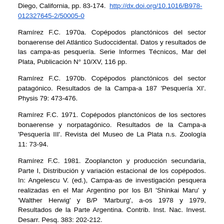Diego, California, pp. 83-174. http://dx.doi.org/10.1016/B978-012327645-2/50005-0
Ramírez F.C. 1970a. Copépodos planctónicos del sector bonaerense del Atlántico Sudoccidental. Datos y resultados de las campa-as pesquería. Serie Informes Técnicos, Mar del Plata, Publicación N° 10/XV, 116 pp.
Ramírez F.C. 1970b. Copépodos planctónicos del sector patagónico. Resultados de la Campa-a 187 'Pesquería XI'. Physis 79: 473-476.
Ramírez F.C. 1971. Copépodos planctónicos de los sectores bonaerense y norpatagónico. Resultados de la Campa-a 'Pesquería III'. Revista del Museo de La Plata n.s. Zoología 11: 73-94.
Ramírez F.C. 1981. Zooplancton y producción secundaria, Parte I, Distribución y variación estacional de los copépodos. In: Angelescu V. (ed.), Campa-as de investigación pesquera realizadas en el Mar Argentino por los B/I 'Shinkai Maru' y 'Walther Herwig' y B/P 'Marburg', a-os 1978 y 1979, Resultados de la Parte Argentina. Contrib. Inst. Nac. Invest. Desarr. Pesq. 383: 202-212.